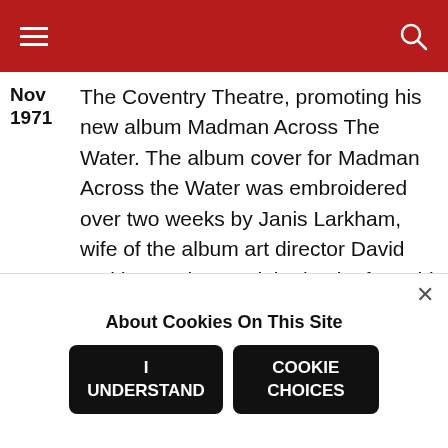Navigation bar with hamburger menu and search icon
Nov 1971 — The Coventry Theatre, promoting his new album Madman Across The Water. The album cover for Madman Across the Water was embroidered over two weeks by Janis Larkham, wife of the album art director David Larkham. She used the back of an old Levi's jacket, and the original was gifted to John.
[Figure (screenshot): Music player banner showing Elton John Honky Chateau album, Mellow track label, circular artist photo]
About Cookies On This Site
I UNDERSTAND
COOKIE CHOICES